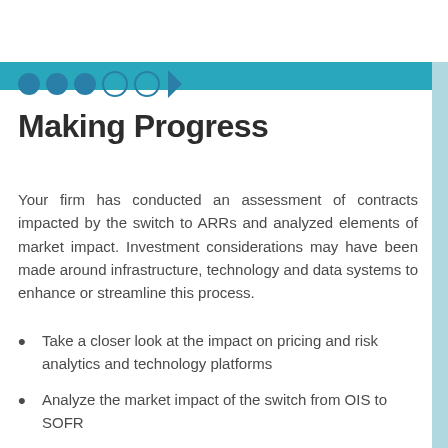Making Progress — progress indicator dots (3 filled, 2 empty, arrow)
Making Progress
Your firm has conducted an assessment of contracts impacted by the switch to ARRs and analyzed elements of market impact. Investment considerations may have been made around infrastructure, technology and data systems to enhance or streamline this process.
Take a closer look at the impact on pricing and risk analytics and technology platforms
Analyze the market impact of the switch from OIS to SOFR
Explore how analytics frameworks can be used